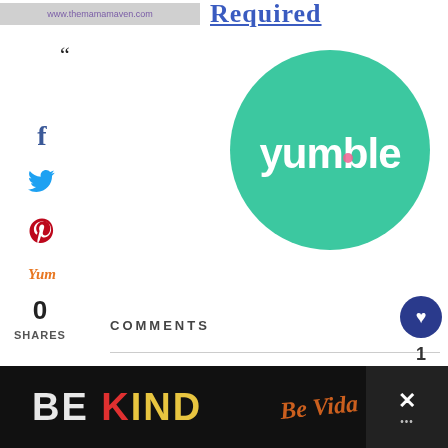www.themamamaven.com  Required
“
[Figure (logo): Yumble logo: white text 'yumble' on a teal/green circle]
f
Twitter bird icon
Pinterest icon
Yum
0
SHARES
COMMENTS
1
[Figure (photo): Comment author avatar photo thumbnail]
Ri...
[Figure (infographic): BE KIND advertisement banner with decorative lettering on dark background]